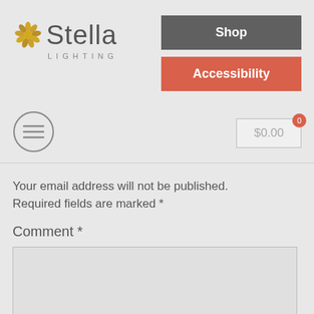[Figure (logo): Stella Lighting logo with sunburst icon and text]
Shop
Accessibility
[Figure (other): Hamburger menu icon (three horizontal lines in a circle)]
$0.00
Your email address will not be published. Required fields are marked *
Comment *